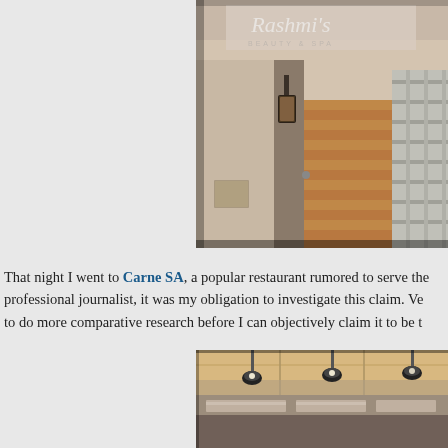[Figure (photo): Exterior photo of Rashmi's Beauty & Spa showing a wooden door entrance with a lantern light fixture and a metal gate, with the establishment name visible on the wall above.]
That night I went to Carne SA, a popular restaurant rumored to serve the professional journalist, it was my obligation to investigate this claim. Ve to do more comparative research before I can objectively claim it to be t
[Figure (photo): Interior photo of a restaurant kitchen or dining area showing pendant lights hanging from the ceiling with stainless steel equipment visible.]